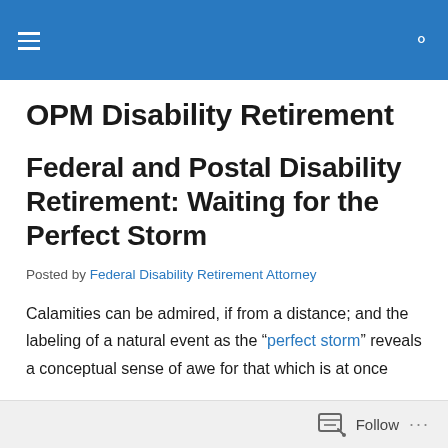OPM Disability Retirement [navigation bar]
OPM Disability Retirement
Federal and Postal Disability Retirement: Waiting for the Perfect Storm
Posted by Federal Disability Retirement Attorney
Calamities can be admired, if from a distance; and the labeling of a natural event as the “perfect storm” reveals a conceptual sense of awe for that which is at once
Follow ...